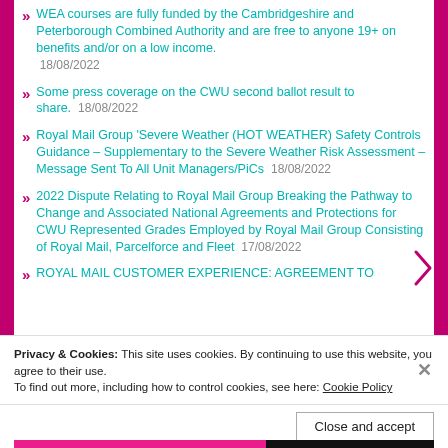WEA courses are fully funded by the Cambridgeshire and Peterborough Combined Authority and are free to anyone 19+ on benefits and/or on a low income.  18/08/2022
Some press coverage on the CWU second ballot result to share.  18/08/2022
Royal Mail Group 'Severe Weather (HOT WEATHER) Safety Controls Guidance – Supplementary to the Severe Weather Risk Assessment – Message Sent To All Unit Managers/PiCs  18/08/2022
2022 Dispute Relating to Royal Mail Group Breaking the Pathway to Change and Associated National Agreements and Protections for CWU Represented Grades Employed by Royal Mail Group Consisting of Royal Mail, Parcelforce and Fleet  17/08/2022
ROYAL MAIL CUSTOMER EXPERIENCE: AGREEMENT TO
Privacy & Cookies: This site uses cookies. By continuing to use this website, you agree to their use.
To find out more, including how to control cookies, see here: Cookie Policy
Close and accept